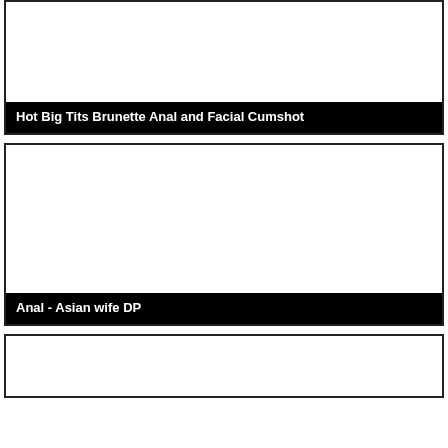[Figure (photo): White blank image area for first video thumbnail]
Hot Big Tits Brunette Anal and Facial Cumshot
[Figure (photo): White blank image area for second video thumbnail]
Anal - Asian wife DP
[Figure (photo): White blank image area for third video thumbnail (partially visible)]